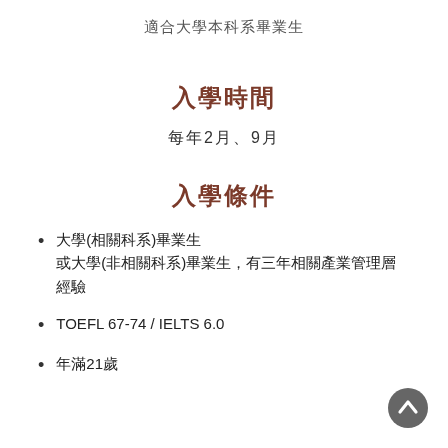適合大學本科系畢業生
入學時間
每年2月、9月
入學條件
大學(相關科系)畢業生 或大學(非相關科系)畢業生，有三年相關產業管理層 經驗
TOEFL 67-74 / IELTS 6.0
年滿21歲
[Figure (illustration): A dark grey circular back-to-top scroll button with an upward arrow icon, positioned in the bottom-right corner.]